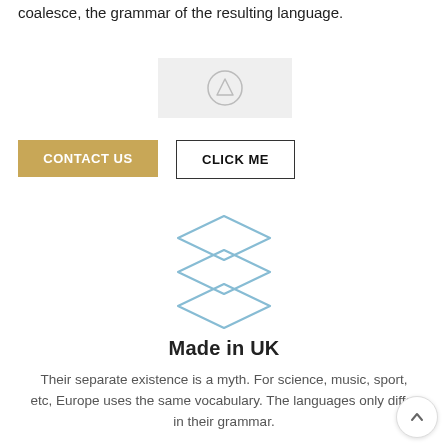coalesce, the grammar of the resulting language.
[Figure (other): Gray placeholder box with an upload/arrow icon in the center]
CONTACT US
CLICK ME
[Figure (illustration): Three stacked diamond/rhombus shapes in light blue, forming a layers icon]
Made in UK
Their separate existence is a myth. For science, music, sport, etc, Europe uses the same vocabulary. The languages only differ in their grammar.